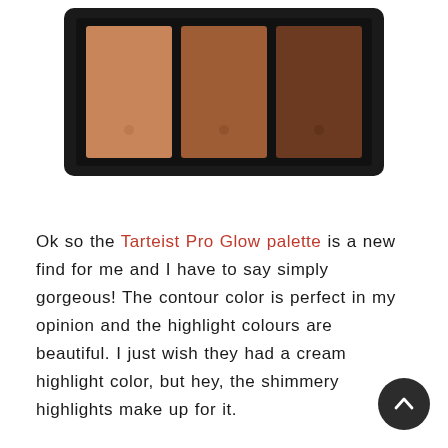[Figure (photo): A makeup contour palette with three square pans in graduated shades from light tan to medium brown to dark brown, set in a black compact case, photographed from above on a white background.]
Ok so the Tarteist Pro Glow palette is a new find for me and I have to say simply gorgeous! The contour color is perfect in my opinion and the highlight colours are beautiful. I just wish they had a cream highlight color, but hey, the shimmery highlights make up for it.